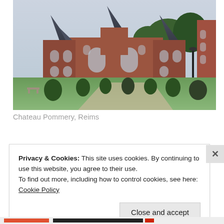[Figure (photo): Photograph of Chateau Pommery in Reims — a grand Victorian-era red brick building with conical-roofed towers, arched windows, surrounded by manicured green lawn and topiary shrubs, under an overcast sky.]
Chateau Pommery, Reims
Privacy & Cookies: This site uses cookies. By continuing to use this website, you agree to their use.
To find out more, including how to control cookies, see here: Cookie Policy
Close and accept